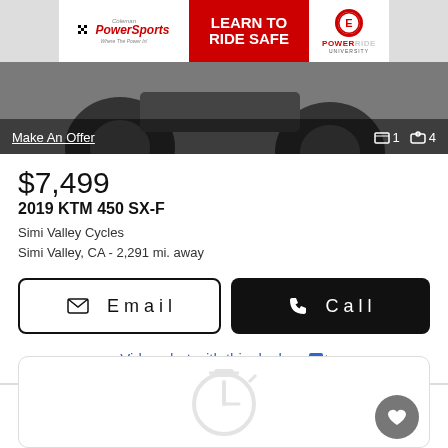[Figure (photo): Coleman PowerSports 'Learn To Ride Safe' banner ad with PowerRide University logo on right]
[Figure (photo): Motorcycle photo background with dark overlay showing 'Make An Offer' link and photo/video count icons (1 video, 4 photos)]
Make An Offer
1   4
$7,499
2019 KTM 450 SX-F
Simi Valley Cycles
Simi Valley, CA - 2,291 mi. away
Email
Call
Video chat with this dealer 💬
View our Simi Valley Cycles location
Look Now
[Figure (illustration): Partial card with placeholder stopwatch/timer icon and heart/favorite button in bottom-right corner]